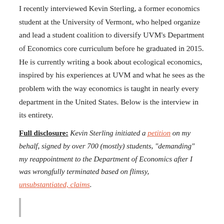I recently interviewed Kevin Sterling, a former economics student at the University of Vermont, who helped organize and lead a student coalition to diversify UVM's Department of Economics core curriculum before he graduated in 2015. He is currently writing a book about ecological economics, inspired by his experiences at UVM and what he sees as the problem with the way economics is taught in nearly every department in the United States. Below is the interview in its entirety.
Full disclosure: Kevin Sterling initiated a petition on my behalf, signed by over 700 (mostly) students, "demanding" my reappointment to the Department of Economics after I was wrongfully terminated based on flimsy, unsubstantiated, claims.